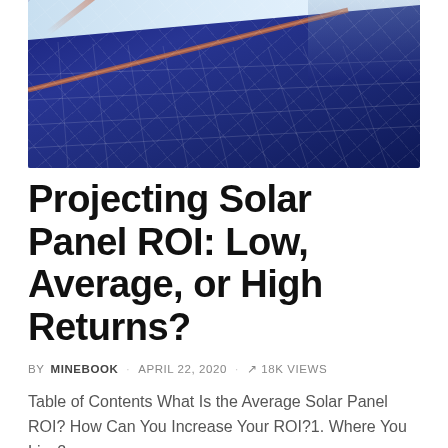[Figure (photo): Photograph of blue solar panels arranged in rows under a clear light blue sky, taken from a low angle showing the panel grid pattern and a diagonal highlight or cable running across them.]
Projecting Solar Panel ROI: Low, Average, or High Returns?
BY MINEBOOK · APRIL 22, 2020 · 18K VIEWS
Table of Contents What Is the Average Solar Panel ROI? How Can You Increase Your ROI?1. Where You Live2....